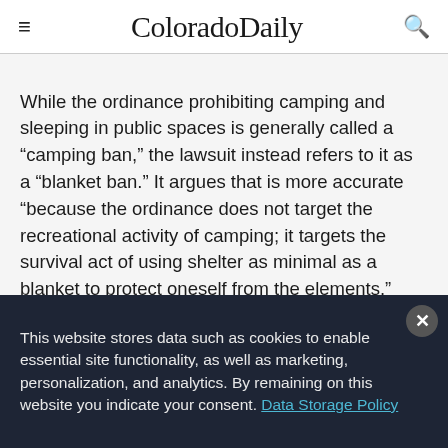ColoradoDaily
While the ordinance prohibiting camping and sleeping in public spaces is generally called a “camping ban,” the lawsuit instead refers to it as a “blanket ban.” It argues that is more accurate “because the ordinance does not target the recreational activity of camping; it targets the survival act of using shelter as minimal as a blanket to protect oneself from the elements.”
This website stores data such as cookies to enable essential site functionality, as well as marketing, personalization, and analytics. By remaining on this website you indicate your consent. Data Storage Policy